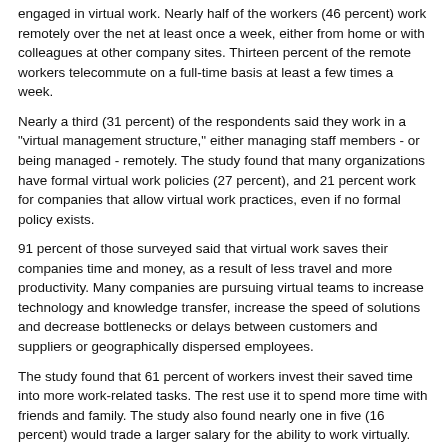engaged in virtual work. Nearly half of the workers (46 percent) work remotely over the net at least once a week, either from home or with colleagues at other company sites. Thirteen percent of the remote workers telecommute on a full-time basis at least a few times a week.
Nearly a third (31 percent) of the respondents said they work in a "virtual management structure," either managing staff members - or being managed - remotely. The study found that many organizations have formal virtual work policies (27 percent), and 21 percent work for companies that allow virtual work practices, even if no formal policy exists.
91 percent of those surveyed said that virtual work saves their companies time and money, as a result of less travel and more productivity. Many companies are pursuing virtual teams to increase technology and knowledge transfer, increase the speed of solutions and decrease bottlenecks or delays between customers and suppliers or geographically dispersed employees.
The study found that 61 percent of workers invest their saved time into more work-related tasks. The rest use it to spend more time with friends and family. The study also found nearly one in five (16 percent) would trade a larger salary for the ability to work virtually.
About the study: The 510 respondents were selected by a quota of equal parts management and staff from small, medium and large companies throughout the United States.
To view the study